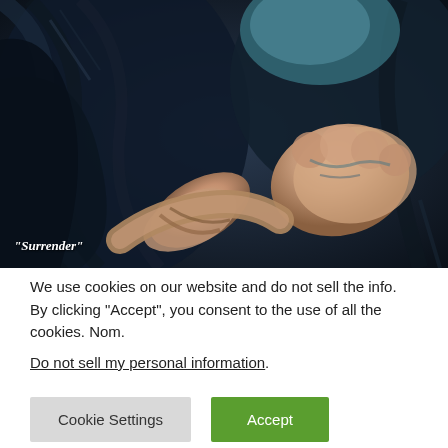[Figure (illustration): A detailed artistic illustration or painting showing hands/feet with dark clothing, in a realistic style. Text label 'Surrender' appears at the bottom left of the image in white italic font.]
We use cookies on our website and do not sell the info. By clicking “Accept”, you consent to the use of all the cookies. Nom.
Do not sell my personal information.
Cookie Settings
Accept